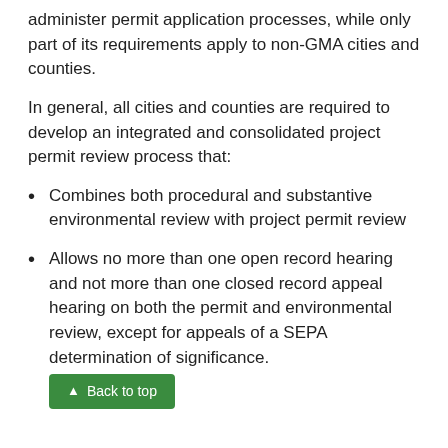administer permit application processes, while only part of its requirements apply to non-GMA cities and counties.
In general, all cities and counties are required to develop an integrated and consolidated project permit review process that:
Combines both procedural and substantive environmental review with project permit review
Allows no more than one open record hearing and not more than one closed record appeal hearing on both the permit and environmental review, except for appeals of a SEPA determination of significance.